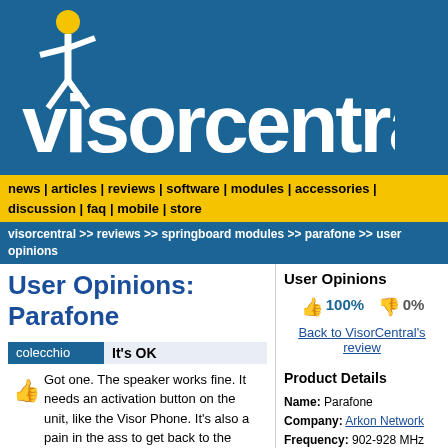[Figure (logo): Visorcentral logo with blue background, white figure with yellow head icon, large white text 'visorcentral']
news | articles | reviews | software | modules | accessories | discussion | faq | mobile | store
visorcentral >> reviews >> springboard modules >> parafone >> user opinions
User Opinions: Parafone
User Opinions
100% 0%
Back to VisorCentral's review
colecchio | It's OK | Got one. The speaker works fine. It needs an activation button on the unit, like the Visor Phone. It's also a pain in the ass to get back to the hang up screen if you leave the phone app. Other than that, it's a good module.
Product Details
Name: Parafone
Company: Arkon Network
Frequency: 902-928 MHz ISM band
Dimensions: Handset module 94mmx8mmx29mm
SLDubin | Worth the Convenience!